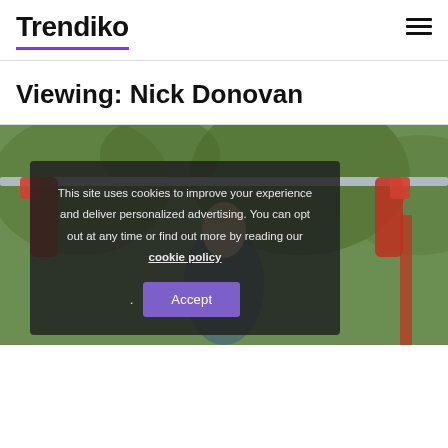Trendiko
Viewing: Nick Donovan
[Figure (photo): Person doing pull-ups on a horizontal bar outdoors, wearing red gloves, with green trees in background. A cookie consent dialog overlays the lower portion of the photo.]
This site uses cookies to improve your experience and deliver personalized advertising. You can opt out at any time or find out more by reading our cookie policy .